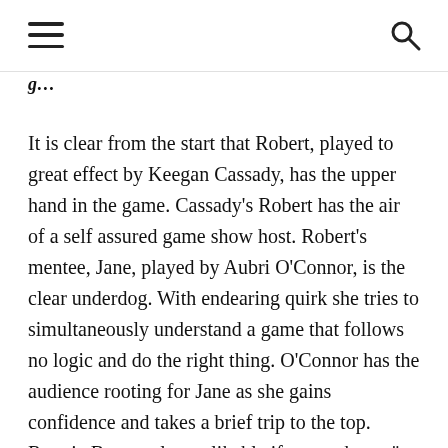[hamburger menu icon] [search icon]
g...
It is clear from the start that Robert, played to great effect by Keegan Cassady, has the upper hand in the game. Cassady’s Robert has the air of a self assured game show host. Robert’s mentee, Jane, played by Aubri O’Connor, is the clear underdog. With endearing quirk she tries to simultaneously understand a game that follows no logic and do the right thing. O’Connor has the audience rooting for Jane as she gains confidence and takes a brief trip to the top. Ronnie Brown plays a likable if somewhat naïve Ty. Both character and actor get a rough deal in this production, it’s no easy task to remain stuck under a large pile of paper for 90% of the